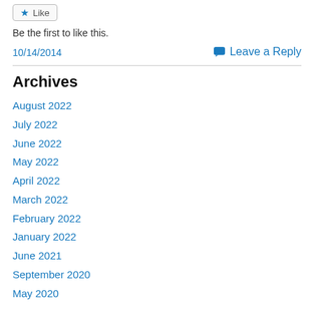Be the first to like this.
10/14/2014
Leave a Reply
Archives
August 2022
July 2022
June 2022
May 2022
April 2022
March 2022
February 2022
January 2022
June 2021
September 2020
May 2020